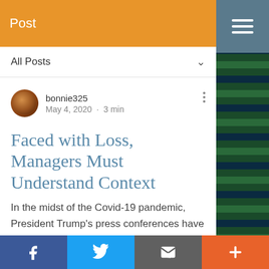Post
All Posts
bonnie325
May 4, 2020 · 3 min
Faced with Loss, Managers Must Understand Context
In the midst of the Covid-19 pandemic, President Trump's press conferences have been labeled tone-deaf and lacking empathy and clear direction.
f  (Twitter bird)  (Email)  +